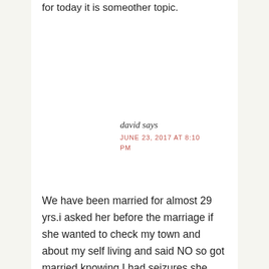for today it is someother topic.
david says
JUNE 23, 2017 AT 8:10 PM
We have been married for almost 29 yrs.i asked her before the marriage if she wanted to check my town and about my self living and said NO so got married knowing I had seizures she married me and